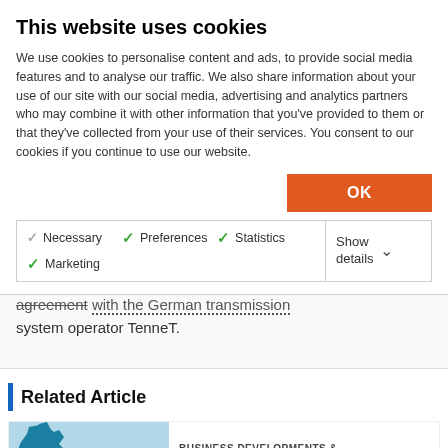This website uses cookies
We use cookies to personalise content and ads, to provide social media features and to analyse our traffic. We also share information about your use of our site with our social media, advertising and analytics partners who may combine it with other information that you've provided to them or that they've collected from your use of their services. You consent to our cookies if you continue to use our website.
OK
| Consent Type | Status |
| --- | --- |
| Necessary | checked (gray) |
| Preferences | checked (green) |
| Statistics | checked (green) |
| Marketing | checked (green) |
Show details
agreement with the German transmission system operator TenneT.
Related Article
[Figure (map): Map showing UK and Netherlands/Germany with a line connecting them representing a power link route]
BUSINESS DEVELOPMENTS & PROJECTS
UK-Germany power link steps closer to reality